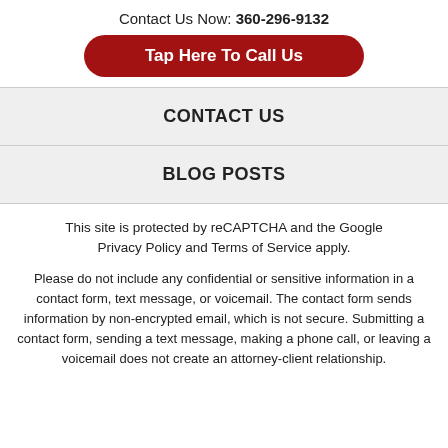Contact Us Now: 360-296-9132
Tap Here To Call Us
CONTACT US
BLOG POSTS
This site is protected by reCAPTCHA and the Google Privacy Policy and Terms of Service apply.
Please do not include any confidential or sensitive information in a contact form, text message, or voicemail. The contact form sends information by non-encrypted email, which is not secure. Submitting a contact form, sending a text message, making a phone call, or leaving a voicemail does not create an attorney-client relationship.